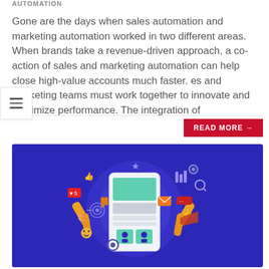AUTOMATION
Gone are the days when sales automation and marketing automation worked in two different areas. When brands take a revenue-driven approach, a co-action of sales and marketing automation can help close high-value accounts much faster. es and marketing teams must work together to innovate and maximize performance. The integration of
READ MORE →
[Figure (illustration): Illustration of two robotic arms on a dark blue/purple background interacting with a mobile phone display, surrounded by social media and digital marketing icons (likes, stars, charts, gears, magnifier, chat bubbles, etc.). Represents marketing automation.]